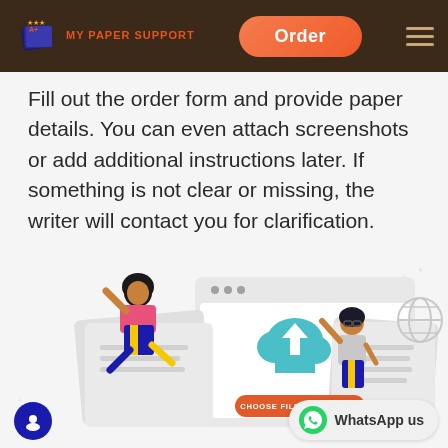MY PAPER SUPPORT — Order
Fill out the order form and provide paper details. You can even attach screenshots or add additional instructions later. If something is not clear or missing, the writer will contact you for clarification.
[Figure (illustration): Illustration showing two characters interacting with a file upload interface. A cloud with an upload arrow is shown in the center with a button labeled 'CHOOSE FILES TO UPLOAD'. One character is leaping on the left, another is gesturing on the right, both near document pages. A globe icon is visible on the right side.]
[Figure (other): Blue circle chat button on bottom left and WhatsApp badge on bottom right reading 'WhatsApp us']